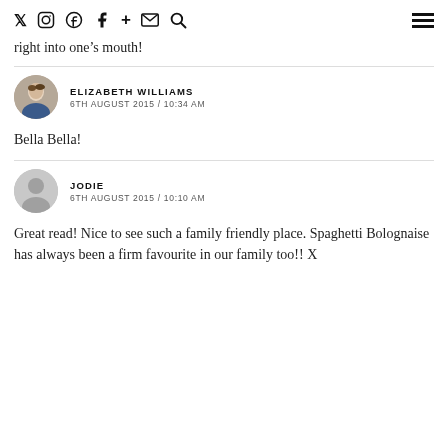Twitter Instagram Pinterest Facebook + Email Search [hamburger menu]
right into one's mouth!
ELIZABETH WILLIAMS
6TH AUGUST 2015 / 10:34 AM
Bella Bella!
JODIE
6TH AUGUST 2015 / 10:10 AM
Great read! Nice to see such a family friendly place. Spaghetti Bolognaise has always been a firm favourite in our family too!! X